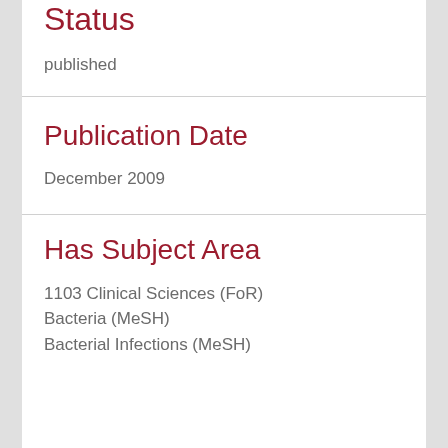Status
published
Publication Date
December 2009
Has Subject Area
1103 Clinical Sciences (FoR)
Bacteria (MeSH)
Bacterial Infections (MeSH)